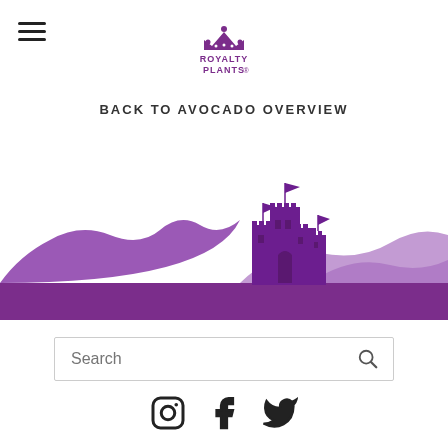Royalty Plants logo and hamburger menu
BACK TO AVOCADO OVERVIEW
[Figure (illustration): Purple castle silhouette with mountains/hills in background, purple color scheme forming a decorative landscape banner]
Search
[Figure (infographic): Social media icons: Instagram, Facebook, Twitter in dark color]